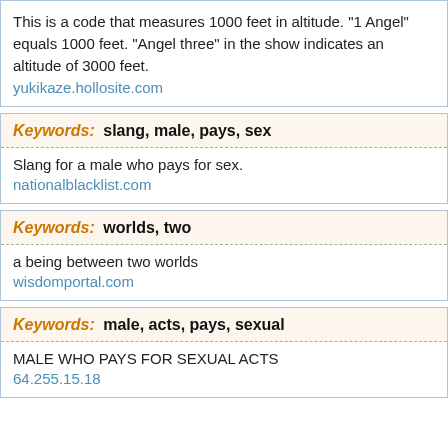This is a code that measures 1000 feet in altitude. "1 Angel" equals 1000 feet. "Angel three" in the show indicates an altitude of 3000 feet.
yukikaze.hollosite.com
Keywords:  slang, male, pays, sex
Slang for a male who pays for sex.
nationalblacklist.com
Keywords:  worlds, two
a being between two worlds
wisdomportal.com
Keywords:  male, acts, pays, sexual
MALE WHO PAYS FOR SEXUAL ACTS
64.255.15.18